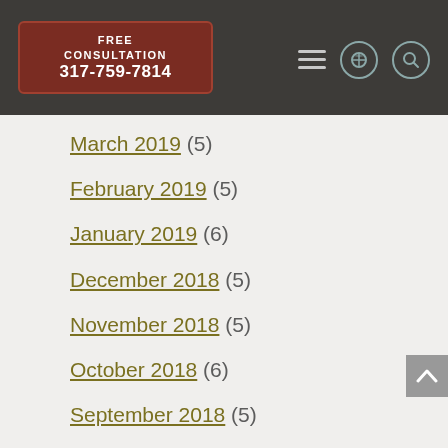FREE CONSULTATION 317-759-7814
March 2019 (5)
February 2019 (5)
January 2019 (6)
December 2018 (5)
November 2018 (5)
October 2018 (6)
September 2018 (5)
August 2018 (5)
July 2018 (5)
June 2018 (5)